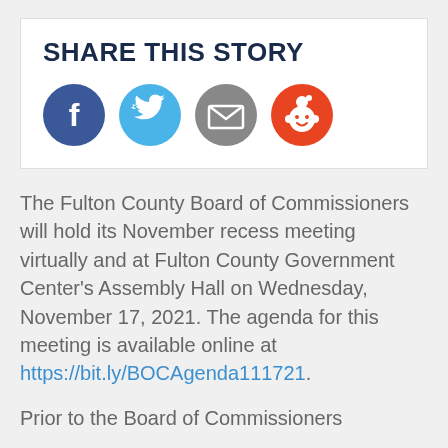SHARE THIS STORY
[Figure (infographic): Four social share buttons: Facebook (dark blue circle with 'f'), Twitter (light blue circle with bird icon), Email (gray circle with envelope icon), Reddit (orange circle with Reddit alien mascot)]
The Fulton County Board of Commissioners will hold its November recess meeting virtually and at Fulton County Government Center’s Assembly Hall on Wednesday, November 17, 2021. The agenda for this meeting is available online at https://bit.ly/BOCAgenda111721.
Prior to the Board of Commissioners